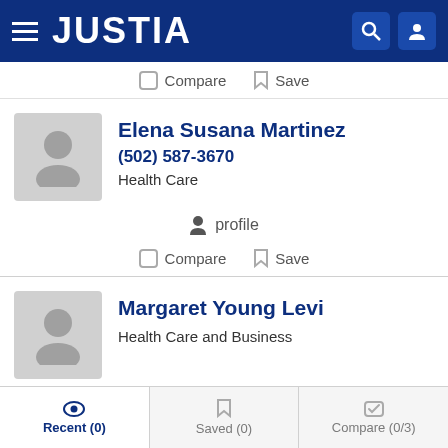JUSTIA
Compare  Save
Elena Susana Martinez
(502) 587-3670
Health Care
profile
Compare  Save
Margaret Young Levi
Health Care and Business
profile
Recent (0)  Saved (0)  Compare (0/3)